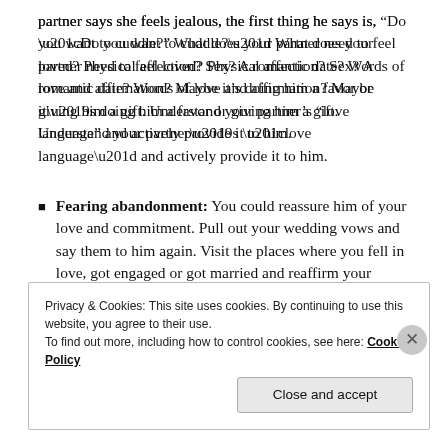partner says she feels jealous, the first thing he says is, “Do you want to cuddle?” What does your partner need to feel loved? Physical affection? Sex? A romantic date? Words of love and affirmation? Maybe it’s doing him a favor or giving him a gift. Understand your partner’s “love language” and actively provide it to him.
Fearing abandonment: You could reassure him of your love and commitment. Pull out your wedding vows and say them to him again. Visit the places where you fell in love, got engaged or got married and reaffirm your commitment to each other. Spend quality time bonding. Remind him of the things that drew you to him.
Privacy & Cookies: This site uses cookies. By continuing to use this website, you agree to their use.
To find out more, including how to control cookies, see here: Cookie Policy